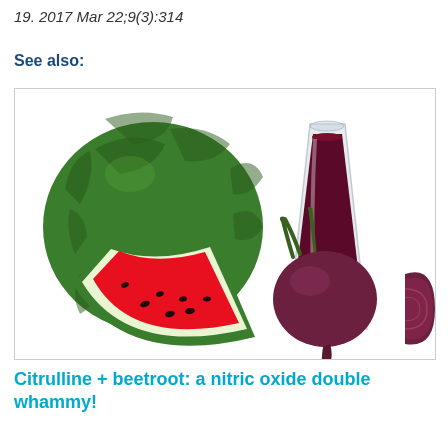19. 2017 Mar 22;9(3):314
See also:
[Figure (photo): Photo of a whole watermelon with a cut slice showing red flesh and seeds on the left, and beetroot with a glass of dark red beet juice on the right, all on a white background.]
Citrulline + beetroot: a nitric oxide double whammy!